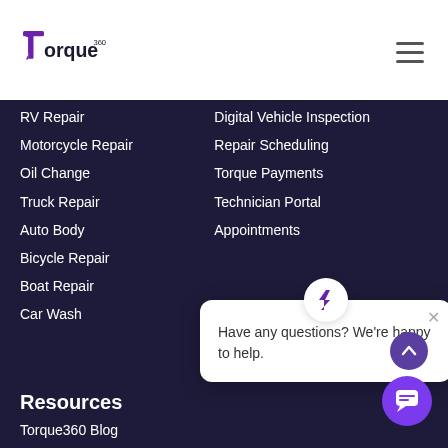[Figure (logo): Torque360 logo in purple]
RV Repair
Motorcycle Repair
Oil Change
Truck Repair
Auto Body
Bicycle Repair
Boat Repair
Car Wash
Digital Vehicle Inspection
Repair Scheduling
Torque Payments
Technician Portal
Appointments
Have any questions? We're happy to help.
Resources
Torque360 Blog